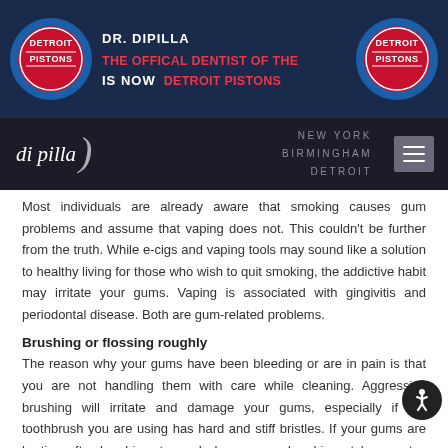[Figure (logo): Detroit Pistons logo on left side of header banner]
DR. DIPILLA IS NOW THE OFFICAL DENTIST OF THE DETROIT PISTONS
[Figure (logo): Detroit Pistons logo on right side of header banner]
[Figure (logo): Di Pilla dental practice logo with navigation bar showing NEW YORK, BIRMINGHAM, DETROIT locations and hamburger menu]
Most individuals are already aware that smoking causes gum problems and assume that vaping does not. This couldn't be further from the truth. While e-cigs and vaping tools may sound like a solution to healthy living for those who wish to quit smoking, the addictive habit may irritate your gums. Vaping is associated with gingivitis and periodontal disease. Both are gum-related problems.
Brushing or flossing roughly
The reason why your gums have been bleeding or are in pain is that you are not handling them with care while cleaning. Aggressive brushing will irritate and damage your gums, especially if the toothbrush you are using has hard and stiff bristles. If your gums are hurting after brushing, try and change your brushing style or get a toothbrush with soft bristles.
Canker sores
Canker sores are a common problem and may appear anywhere in your mouth, and